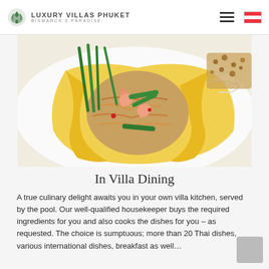Luxury Villas Phuket — Bismarck's Paradise
[Figure (photo): A Thai Pad Thai dish served inside a folded egg crepe, garnished with green onions, green chili peppers, and shrimp, with crushed peanuts visible on the side, served on a white plate.]
In Villa Dining
A true culinary delight awaits you in your own villa kitchen, served by the pool. Our well-qualified housekeeper buys the required ingredients for you and also cooks the dishes for you – as requested. The choice is sumptuous; more than 20 Thai dishes, various international dishes, breakfast as well…